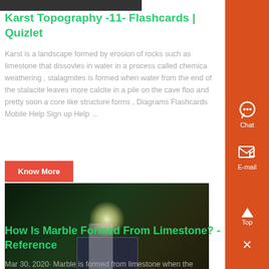[Figure (photo): Partial top image cropped at page top]
Karst Topography -11- Flashcards | Quizlet
Karst is a landscape formed by erosion of rocks such as limestone that dissovles in water in a process called chemical weathering , stalagmites is formed when water from the end of the stalacite leaves more calcite in a pile on the cave floor and pretty soon a core like structure forms , Diagrams Flashcards Mobile Help Sign up Help …
Know More
[Figure (photo): Dark photo showing a lit indoor scene with a person seated at a table]
How Is Marble Formed From Limestone? - Reference
Mar 30, 2020· Marble is formed from limestone when the